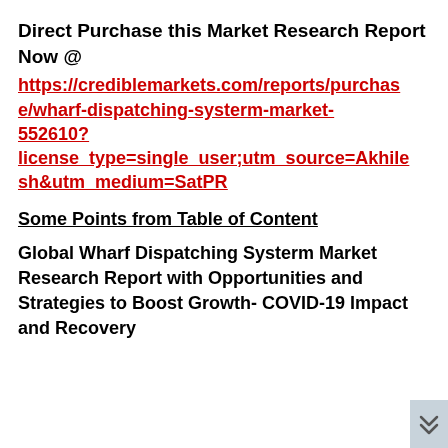Direct Purchase this Market Research Report Now @
https://crediblemarkets.com/reports/purchase/wharf-dispatching-systerm-market-552610?license_type=single_user;utm_source=Akhilesh&utm_medium=SatPR
Some Points from Table of Content
Global Wharf Dispatching Systerm Market Research Report with Opportunities and Strategies to Boost Growth- COVID-19 Impact and Recovery